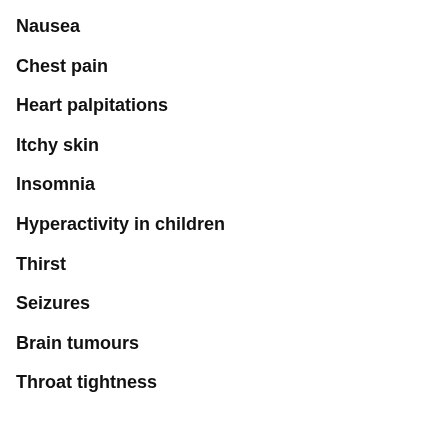Nausea
Chest pain
Heart palpitations
Itchy skin
Insomnia
Hyperactivity in children
Thirst
Seizures
Brain tumours
Throat tightness